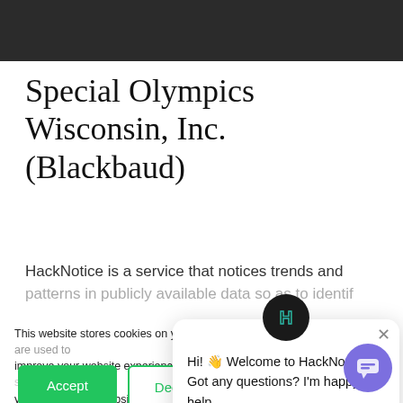[Figure (screenshot): Dark navigation/header bar at top of webpage]
Special Olympics Wisconsin, Inc. (Blackbaud)
HackNotice is a service that notices trends and patterns in publicly available data so as to identif...
This website stores cookies on your computer. These cookies are used to improve your website experience and provide more personalized services to you, both on this website and through other media. To find out more about the cookies we use, see our Privacy P...
We won't track your information when you visit our site. But in order to comply with your preferences, we'll have to use just one tiny cookie so that you're not asked to make this choice again.
[Figure (screenshot): Chat popup widget with HackNotice logo icon. Says: Hi! Welcome to HackNotice. Got any questions? I'm happy to help.]
Accept
Decline